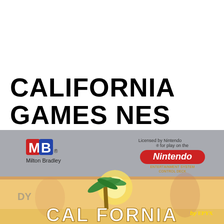CALIFORNIA GAMES NES
[Figure (photo): Photograph of the California Games NES cartridge box, showing the Milton Bradley (MB) logo in the upper left, a Nintendo licensed seal in the upper right reading 'Licensed by Nintendo for play on the Nintendo Entertainment System', and the lower portion showing the game box art with 'CALIFORNIA' text in large letters at the bottom and 'by EPYX' branding, featuring beach scene artwork with a palm tree.]